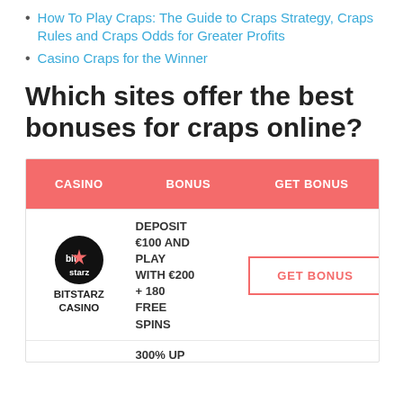How To Play Craps: The Guide to Craps Strategy, Craps Rules and Craps Odds for Greater Profits
Casino Craps for the Winner
Which sites offer the best bonuses for craps online?
| CASINO | BONUS | GET BONUS |
| --- | --- | --- |
| BITSTARZ CASINO | DEPOSIT €100 AND PLAY WITH €200 + 180 FREE SPINS | GET BONUS |
|  | 300% UP |  |